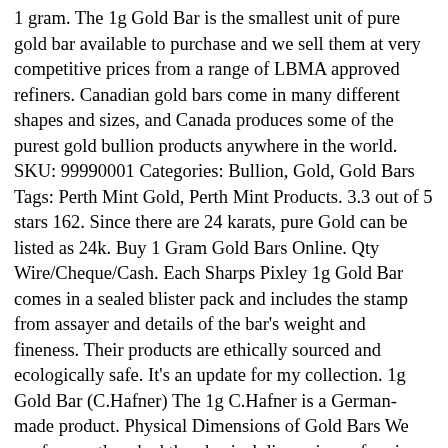1 gram. The 1g Gold Bar is the smallest unit of pure gold bar available to purchase and we sell them at very competitive prices from a range of LBMA approved refiners. Canadian gold bars come in many different shapes and sizes, and Canada produces some of the purest gold bullion products anywhere in the world. SKU: 99990001 Categories: Bullion, Gold, Gold Bars Tags: Perth Mint Gold, Perth Mint Products. 3.3 out of 5 stars 162. Since there are 24 karats, pure Gold can be listed as 24k. Buy 1 Gram Gold Bars Online. Qty Wire/Cheque/Cash. Each Sharps Pixley 1g Gold Bar comes in a sealed blister pack and includes the stamp from assayer and details of the bar's weight and fineness. Their products are ethically sourced and ecologically safe. It's an update for my collection. 1g Gold Bar (C.Hafner) The 1g C.Hafner is a German-made product. Physical Dimensions of Gold Bars We are frequently asked the physical dimensions of various weights of gold bars, we have provided a brief table showing typical measurements. * Bullion product prices displayed include the precious metal price and any applicable premium. Add to cart MORE INFO. Last one . Bullion bars supplied may vary in finish, including colour tone, surface texture and shape. Get it as soon as Tue, Jan 12. 1 Gram Gold Bar. Whether minted or cast, Canadian gold bars can play a major role in your gold portfolio. These stunning fine gold bars are manufactured by a variety of global mints and refineries including: The Royal Mint, Perth Mint, Royal Canadian Mint, Johnson Matthey, PAMP Suisse, Credit Suisse, Swiss Bank, Metalor, Heraeus, Valcambi, UBS, Baird Mint and